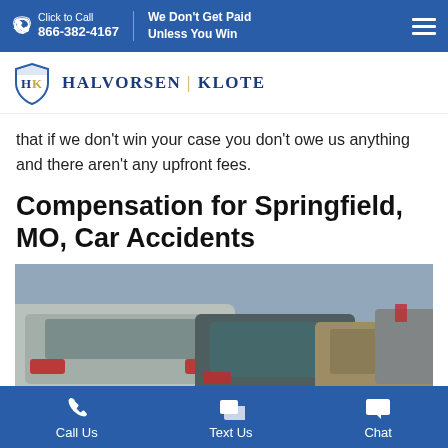Click to Call 866-382-4167 | We Don't Get Paid Unless You Win
[Figure (logo): Halvorsen Klote law firm logo with shield icon]
that if we don't win your case you don't owe us anything and there aren't any upfront fees.
Compensation for Springfield, MO, Car Accidents
[Figure (photo): Traffic jam photo showing multiple cars stopped on a road, rear view with brake lights visible]
Call Us | Text Us | Chat